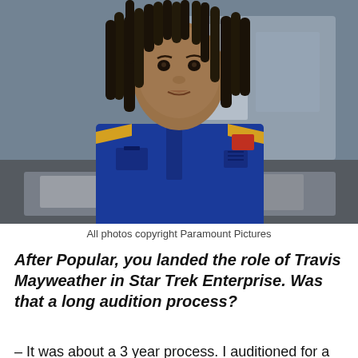[Figure (photo): A person wearing a blue jumpsuit with gold/yellow stripe details, sitting at a console or desk, looking directly at the camera. The setting appears to be a sci-fi environment, consistent with Star Trek Enterprise. Hair is in dreadlocks. Background is blurred with gray and blue tones.]
All photos copyright Paramount Pictures
After Popular, you landed the role of Travis Mayweather in Star Trek Enterprise. Was that a long audition process?
– It was about a 3 year process. I auditioned for a role